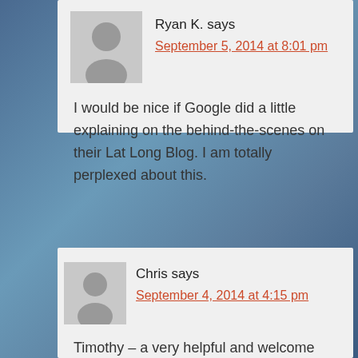Ryan K. says
September 5, 2014 at 8:01 pm
I would be nice if Google did a little explaining on the behind-the-scenes on their Lat Long Blog. I am totally perplexed about this.
Chris says
September 4, 2014 at 4:15 pm
Timothy – a very helpful and welcome post.